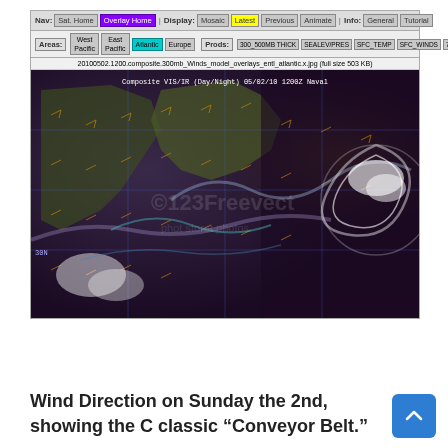[Figure (screenshot): Naval weather satellite composite VIS/IR overlay screenshot showing wind direction model (300mb Winds) over the Atlantic region, dated 05/02/10 1200Z. The UI shows navigation bars with area selections (West Pacific, East Pacific, Atlantic highlighted, Europe) and product selections. The satellite image shows a composite with weather patterns and wind barbs overlaid.]
Wind Direction on Sunday the 2nd, showing the classic “Conveyor Belt.”